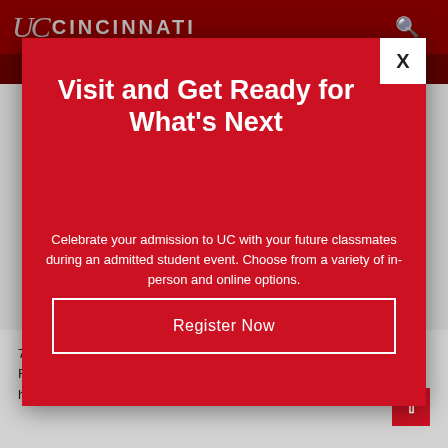UC CINCINNATI
[Figure (screenshot): University of Cincinnati website header with dark red background, UC logo on the left and search icon on the right]
Visit and Get Ready for What's Next
Celebrate your admission to UC with your future classmates during an admitted student event. Choose from a variety of in-person and online options.
Register Now
7. If you have additional questions, call the UC COVID Check Response Team hotline at: (513) 558-1772 (513) 558-177. The hotline is staffed Monday–